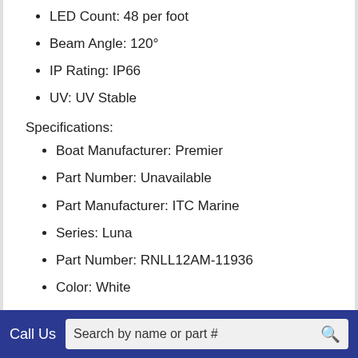LED Count: 48 per foot
Beam Angle: 120°
IP Rating: IP66
UV: UV Stable
Specifications:
Boat Manufacturer: Premier
Part Number: Unavailable
Part Manufacturer: ITC Marine
Series: Luna
Part Number: RNLL12AM-11936
Color: White
Call Us  Search by name or part #